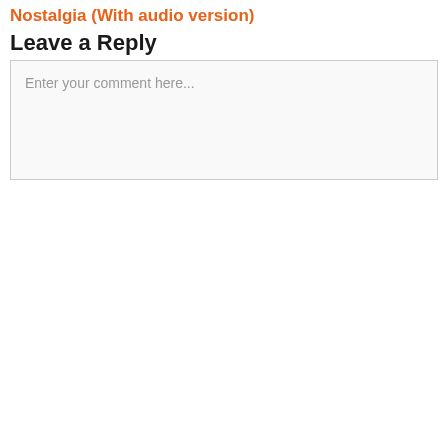Nostalgia (With audio version)
Leave a Reply
Enter your comment here...